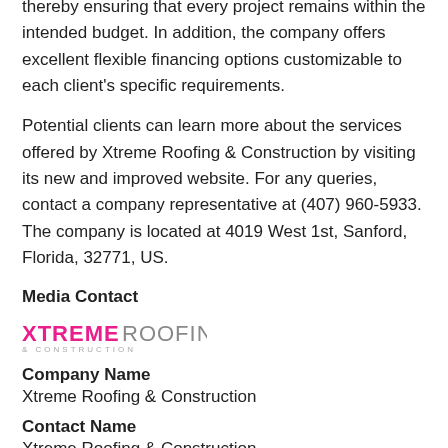thereby ensuring that every project remains within the intended budget. In addition, the company offers excellent flexible financing options customizable to each client's specific requirements.
Potential clients can learn more about the services offered by Xtreme Roofing & Construction by visiting its new and improved website. For any queries, contact a company representative at (407) 960-5933. The company is located at 4019 West 1st, Sanford, Florida, 32771, US.
Media Contact
[Figure (logo): Xtreme Roofing & Construction logo with pink XTREME text and gray ROOFING & CONSTRUCTION text]
Company Name
Xtreme Roofing & Construction
Contact Name
Xtreme Roofing & Construction